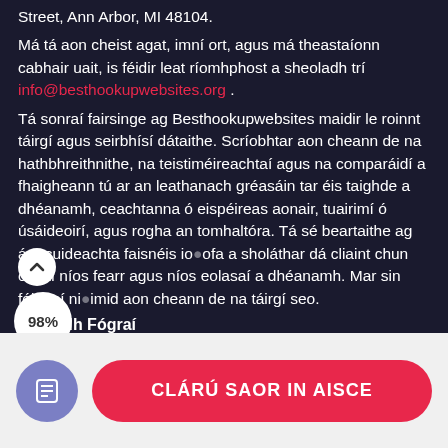Street, Ann Arbor, MI 48104.
Má tá aon cheist agat, imní ort, agus má theastaíonn cabhair uait, is féidir leat ríomhphost a sheoladh trí info@besthookupwebsites.org .
Tá sonraí fairsinge ag Besthookupwebsites maidir le roinnt táirgí agus seirbhísí dátaithe. Scríobhtar aon cheann de na hathbhreithnithe, na teistiméireachtaí agus na comparáidí a fhaigheann tú ar an leathanach gréasáin tar éis taighde a dhéanamh, ceachtanna ó eispéireas aonair, tuairimí ó úsáideoirí, agus rogha an tomhaltóra. Tá sé beartaithe ag ár gcuideachta faisnéis iontaofa a sholáthar dá cliaint chun cinntí níos fearr agus níos eolasaí a dhéanamh. Mar sin féin, ní díolaimid aon cheann de na táirgí seo.
Nochtadh Fógrai
Tá tú ag...